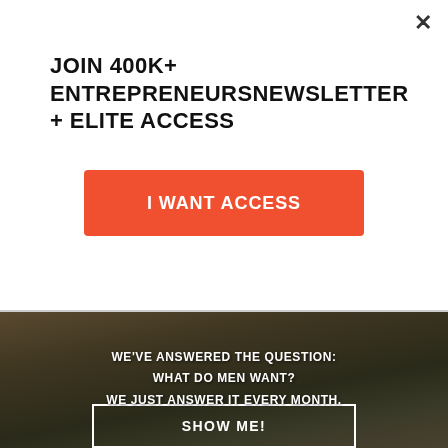JOIN 400K+ ENTREPRENEURSNEWSLETTER + ELITE ACCESS
I WANT ACCESS
[Figure (photo): Close-up photo of a person's wrist wearing a square-faced military-style watch with dark grey case and orange numerals/markers, with dark olive/khaki fabric clothing visible below]
WE'VE ANSWERED THE QUESTION: WHAT DO MEN WANT? WE JUST ANSWER IT EVERY MONTH.
SHOW ME!